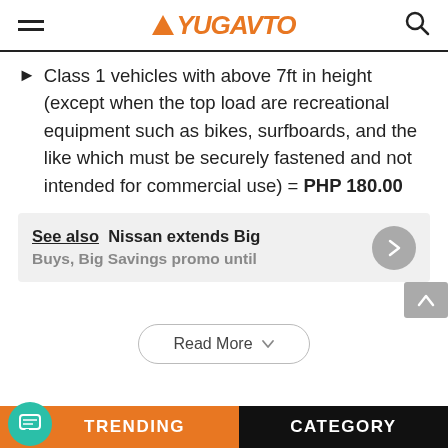YUGAVTO
Class 1 vehicles with above 7ft in height (except when the top load are recreational equipment such as bikes, surfboards, and the like which must be securely fastened and not intended for commercial use) = PHP 180.00
See also  Nissan extends Big Buys, Big Savings promo until
Read More
TRENDING  CATEGORY